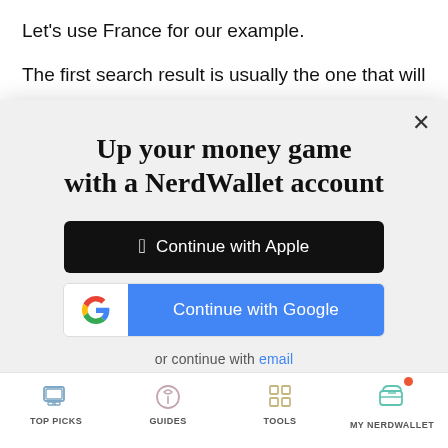Let’s use France for our example.
The first search result is usually the one that will
[Figure (screenshot): NerdWallet account sign-up modal with title 'Up your money game with a NerdWallet account', Continue with Apple button (black), Continue with Google button (blue with Google G icon), 'or continue with email' link, and Terms of Service / Privacy Policy text. Close (X) button in top right.]
TOP PICKS | GUIDES | TOOLS | MY NERDWALLET